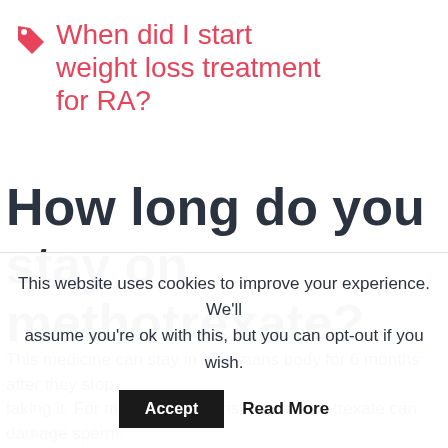When did I start weight loss treatment for RA?
How long do you stay on methotrexate?
This medicine can stay in a womans body for 6 months after they stop taking it. For men, there is a risk that methotrexate can damage sperm.
This website uses cookies to improve your experience. We'll assume you're ok with this, but you can opt-out if you wish.